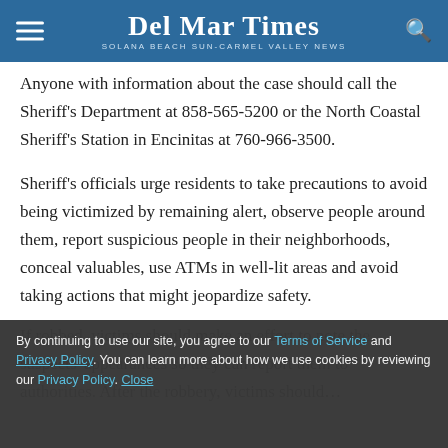Del Mar Times — Solana Beach Sun-Carmel Valley News
Anyone with information about the case should call the Sheriff's Department at 858-565-5200 or the North Coastal Sheriff's Station in Encinitas at 760-966-3500.
Sheriff's officials urge residents to take precautions to avoid being victimized by remaining alert, observe people around them, report suspicious people in their neighborhoods, conceal valuables, use ATMs in well-lit areas and avoid taking actions that might jeopardize safety.
If robbed, victims should make an effort to note the suspects' appearances so they can report them to authorities. After the robbery, victims should…
By continuing to use our site, you agree to our Terms of Service and Privacy Policy. You can learn more about how we use cookies by reviewing our Privacy Policy. Close